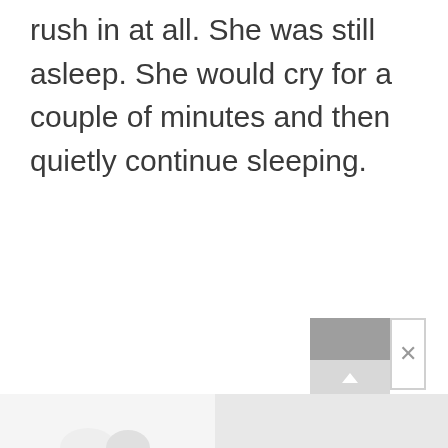rush in at all. She was still asleep. She would cry for a couple of minutes and then quietly continue sleeping.
[Figure (other): UI widget with gray box containing upward arrow indicator and a close (X) button, positioned bottom-right]
[Figure (photo): Bottom strip showing partial photo on the left and a gray image panel on the right]